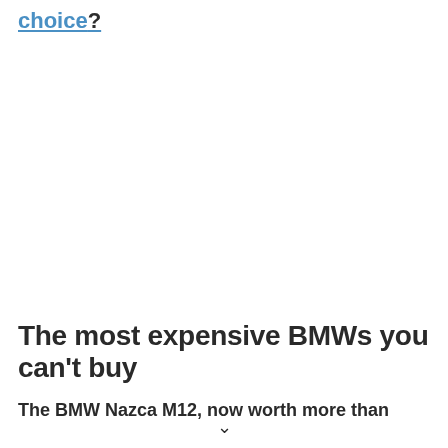choice?
The most expensive BMWs you can't buy
The BMW Nazca M12, now worth more than